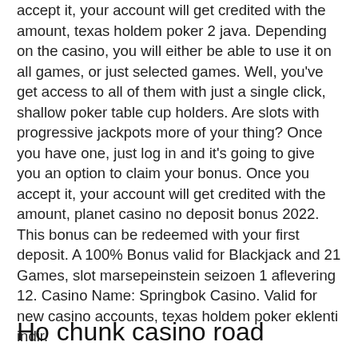accept it, your account will get credited with the amount, texas holdem poker 2 java. Depending on the casino, you will either be able to use it on all games, or just selected games. Well, you've get access to all of them with just a single click, shallow poker table cup holders. Are slots with progressive jackpots more of your thing? Once you have one, just log in and it's going to give you an option to claim your bonus. Once you accept it, your account will get credited with the amount, planet casino no deposit bonus 2022. This bonus can be redeemed with your first deposit. A 100% Bonus valid for Blackjack and 21 Games, slot marsepeinstein seizoen 1 aflevering 12. Casino Name: Springbok Casino. Valid for new casino accounts, texas holdem poker eklenti indir.
Ho chunk casino road